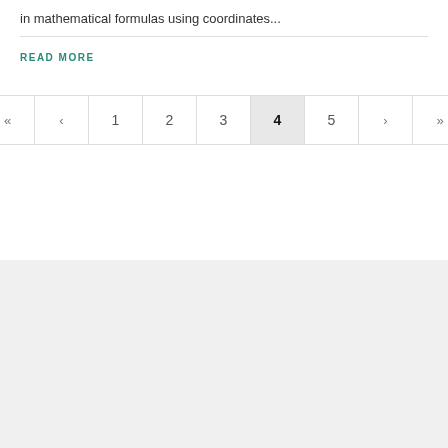in mathematical formulas using coordinates...
READ MORE
[Figure (other): Pagination control showing pages: « ‹ 1 2 3 4 5 › », with page 4 highlighted/active]
[Figure (other): Grey footer background area]